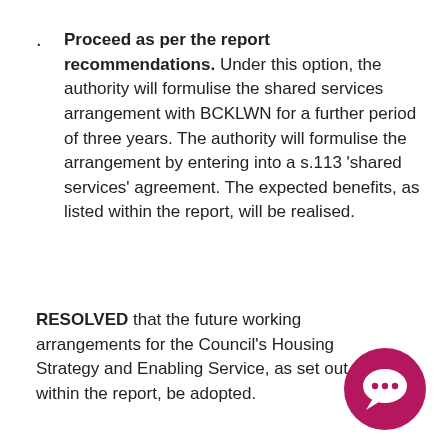Proceed as per the report recommendations. Under this option, the authority will formulise the shared services arrangement with BCKLWN for a further period of three years. The authority will formulise the arrangement by entering into a s.113 'shared services' agreement. The expected benefits, as listed within the report, will be realised.
RESOLVED that the future working arrangements for the Council's Housing Strategy and Enabling Service, as set out within the report, be adopted.